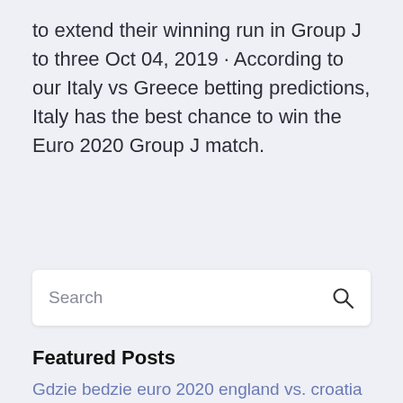to extend their winning run in Group J to three Oct 04, 2019 · According to our Italy vs Greece betting predictions, Italy has the best chance to win the Euro 2020 Group J match.
Search
Featured Posts
Gdzie bedzie euro 2020 england vs. croatia